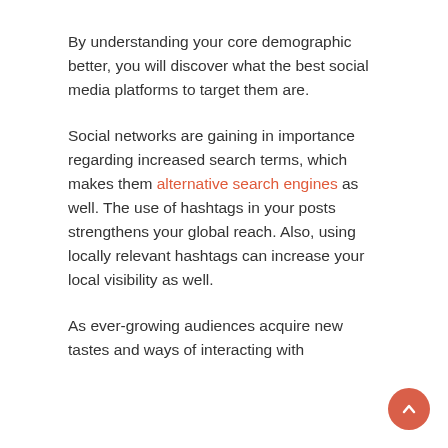By understanding your core demographic better, you will discover what the best social media platforms to target them are.
Social networks are gaining in importance regarding increased search terms, which makes them alternative search engines as well. The use of hashtags in your posts strengthens your global reach. Also, using locally relevant hashtags can increase your local visibility as well.
As ever-growing audiences acquire new tastes and ways of interacting with